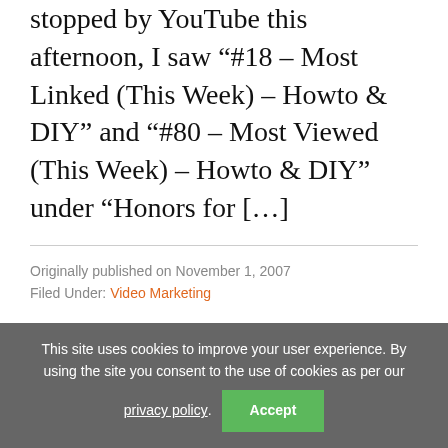to YouTube the other day. When I stopped by YouTube this afternoon, I saw “#18 – Most Linked (This Week) – Howto & DIY” and “#80 – Most Viewed (This Week) – Howto & DIY” under “Honors for […]
Originally published on November 1, 2007
Filed Under: Video Marketing
« Previous Page  1  2  3  Next Page »
This site uses cookies to improve your user experience. By using the site you consent to the use of cookies as per our privacy policy. Accept